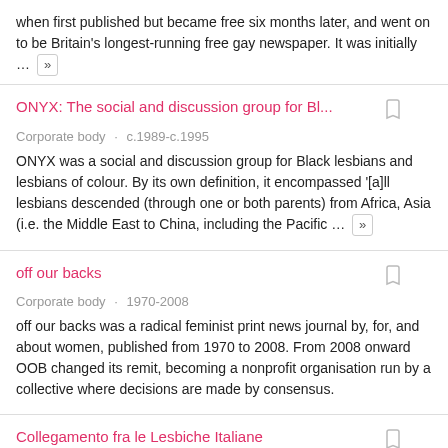when first published but became free six months later, and went on to be Britain's longest-running free gay newspaper. It was initially … »
ONYX: The social and discussion group for Bl…
Corporate body · c.1989-c.1995
ONYX was a social and discussion group for Black lesbians and lesbians of colour. By its own definition, it encompassed '[a]ll lesbians descended (through one or both parents) from Africa, Asia (i.e. the Middle East to China, including the Pacific … »
off our backs
Corporate body · 1970-2008
off our backs was a radical feminist print news journal by, for, and about women, published from 1970 to 2008. From 2008 onward OOB changed its remit, becoming a nonprofit organisation run by a collective where decisions are made by consensus.
Collegamento fra le Lesbiche Italiane
Corporate body · 1981-2008
Collegamento fra le Lesbiche Italiane (roughly, the Coalition of